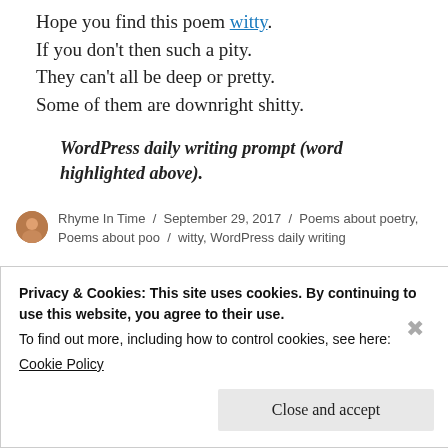Hope you find this poem witty.
If you don't then such a pity.
They can't all be deep or pretty.
Some of them are downright shitty.
WordPress daily writing prompt (word highlighted above).
Rhyme In Time / September 29, 2017 / Poems about poetry, Poems about poo / witty, WordPress daily writing
Privacy & Cookies: This site uses cookies. By continuing to use this website, you agree to their use.
To find out more, including how to control cookies, see here:
Cookie Policy
Close and accept